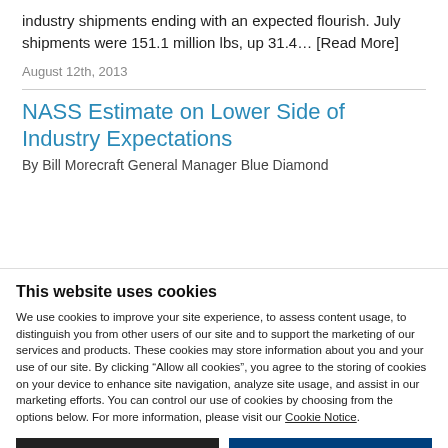industry shipments ending with an expected flourish. July shipments were 151.1 million lbs, up 31.4… [Read More]
August 12th, 2013
NASS Estimate on Lower Side of Industry Expectations
By Bill Morecraft General Manager Blue Diamond
This website uses cookies
We use cookies to improve your site experience, to assess content usage, to distinguish you from other users of our site and to support the marketing of our services and products. These cookies may store information about you and your use of our site. By clicking "Allow all cookies", you agree to the storing of cookies on your device to enhance site navigation, analyze site usage, and assist in our marketing efforts. You can control our use of cookies by choosing from the options below. For more information, please visit our Cookie Notice.
Use necessary cookies only
Allow all cookies
Show details